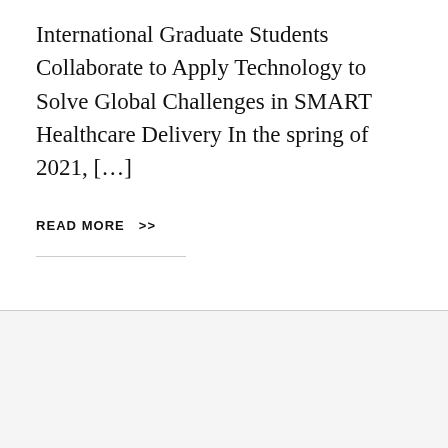International Graduate Students Collaborate to Apply Technology to Solve Global Challenges in SMART Healthcare Delivery In the spring of 2021, [...]
READ MORE >>
AUGUST 23, 2020
Alumni Update – Cancer Researchers Chen & Octoijc Chosen for Nobel